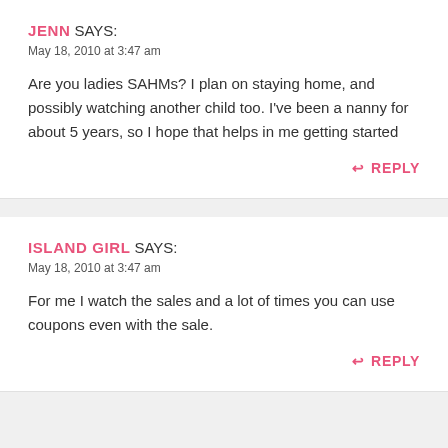JENN SAYS:
May 18, 2010 at 3:47 am
Are you ladies SAHMs? I plan on staying home, and possibly watching another child too. I've been a nanny for about 5 years, so I hope that helps in me getting started
↩ REPLY
ISLAND GIRL SAYS:
May 18, 2010 at 3:47 am
For me I watch the sales and a lot of times you can use coupons even with the sale.
↩ REPLY